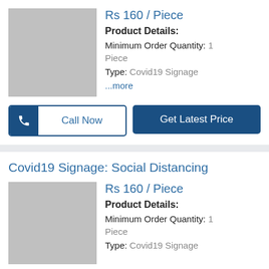[Figure (photo): Gray placeholder product image]
Rs 160 / Piece
Product Details:
Minimum Order Quantity: 1 Piece
Type: Covid19 Signage
...more
Call Now
Get Latest Price
Covid19 Signage: Social Distancing
[Figure (photo): Gray placeholder product image]
Rs 160 / Piece
Product Details:
Minimum Order Quantity: 1 Piece
Type: Covid19 Signage